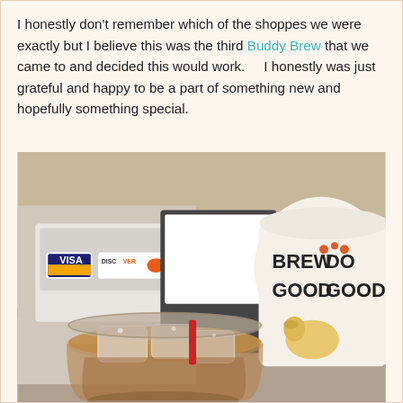I honestly don't remember which of the shoppes we were exactly but I believe this was the third Buddy Brew that we came to and decided this would work.    I honestly was just grateful and happy to be a part of something new and hopefully something special.
[Figure (photo): Close-up photo of an iced drink in a clear plastic cup, with a Buddy Brew coffee mug visible in the background showing 'BREW GOOD DO GOOD' text and a dog logo. A payment terminal with VISA and Discover stickers is visible on the left side.]